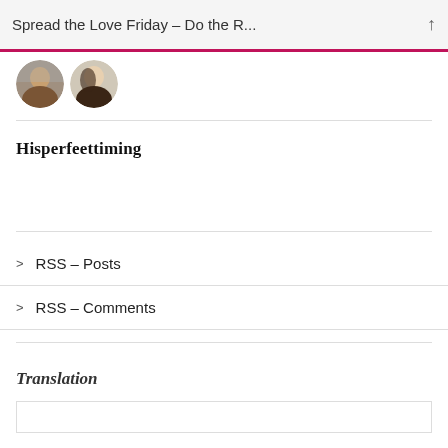Spread the Love Friday – Do the R...
[Figure (photo): Two circular avatar photos of people side by side]
Hisperfeettiming
RSS - Posts
RSS - Comments
Translation